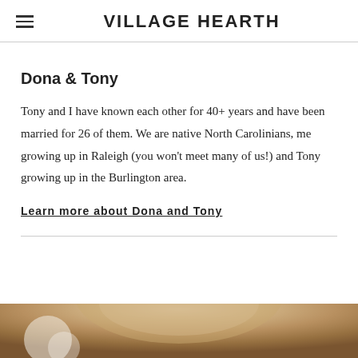VILLAGE HEARTH
Dona & Tony
Tony and I have known each other for 40+ years and have been married for 26 of them. We are native North Carolinians, me growing up in Raleigh (you won't meet many of us!) and Tony growing up in the Burlington area.
Learn more about Dona and Tony
[Figure (photo): Partial view of a person's head, appearing to show blond/light brown hair against a blurred background]